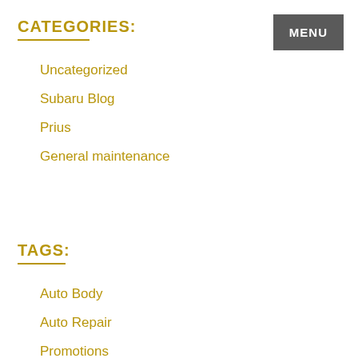CATEGORIES:
Uncategorized
Subaru Blog
Prius
General maintenance
TAGS:
Auto Body
Auto Repair
Promotions